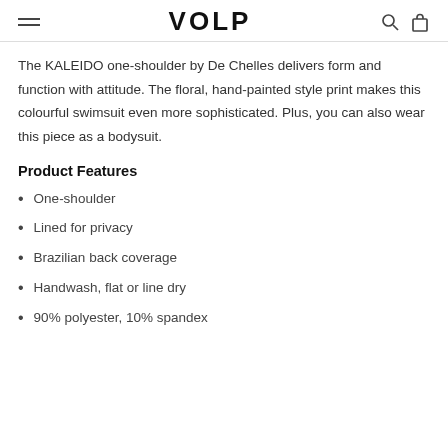VOLP
The KALEIDO one-shoulder by De Chelles delivers form and function with attitude. The floral, hand-painted style print makes this colourful swimsuit even more sophisticated. Plus, you can also wear this piece as a bodysuit.
Product Features
One-shoulder
Lined for privacy
Brazilian back coverage
Handwash, flat or line dry
90% polyester, 10% spandex